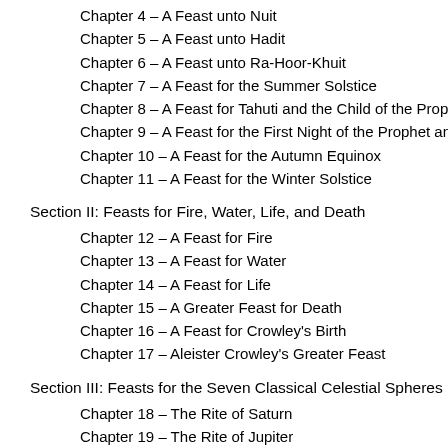Chapter 4 – A Feast unto Nuit
Chapter 5 – A Feast unto Hadit
Chapter 6 – A Feast unto Ra-Hoor-Khuit
Chapter 7 – A Feast for the Summer Solstice
Chapter 8 – A Feast for Tahuti and the Child of the Prophet
Chapter 9 – A Feast for the First Night of the Prophet and His Bride
Chapter 10 – A Feast for the Autumn Equinox
Chapter 11 – A Feast for the Winter Solstice
Section II: Feasts for Fire, Water, Life, and Death
Chapter 12 – A Feast for Fire
Chapter 13 – A Feast for Water
Chapter 14 – A Feast for Life
Chapter 15 – A Greater Feast for Death
Chapter 16 – A Feast for Crowley's Birth
Chapter 17 – Aleister Crowley's Greater Feast
Section III: Feasts for the Seven Classical Celestial Spheres
Chapter 18 – The Rite of Saturn
Chapter 19 – The Rite of Jupiter
Chapter 20 – The Rite of Mars
Chapter 21 – The Rite of Sol